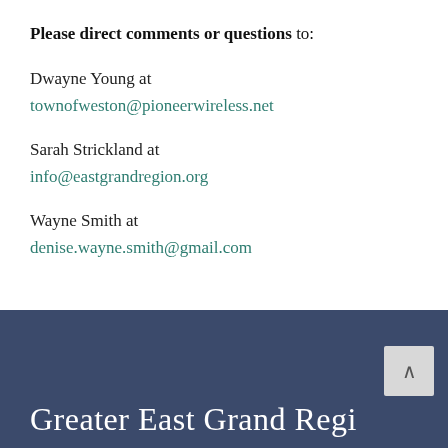Please direct comments or questions to:
Dwayne Young at
townofweston@pioneerwireless.net
Sarah Strickland at
info@eastgrandregion.org
Wayne Smith at
denise.wayne.smith@gmail.com
Greater East Grand Region